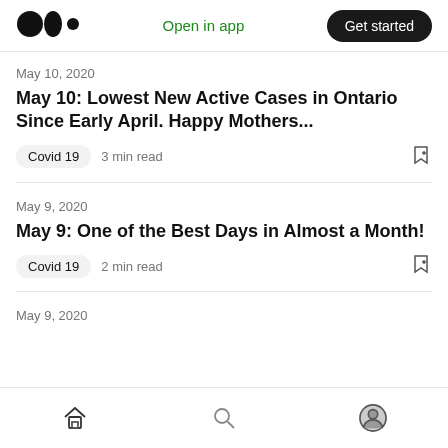Medium logo | Open in app | Get started
May 10, 2020
May 10: Lowest New Active Cases in Ontario Since Early April. Happy Mothers...
Covid 19  3 min read
May 9, 2020
May 9: One of the Best Days in Almost a Month!
Covid 19  2 min read
May 9, 2020
Home | Search | Profile